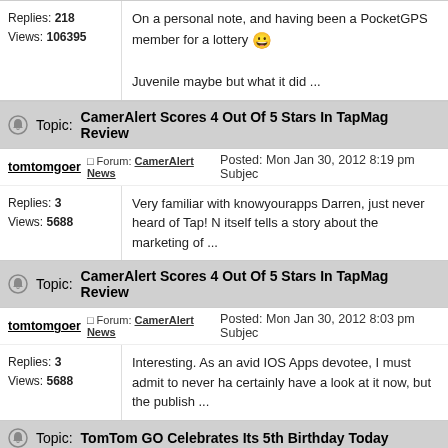Replies: 218
Views: 106395
On a personal note, and having been a PocketGPS member for a lottery 😀

Juvenile maybe but what it did ...
Topic: CamerAlert Scores 4 Out Of 5 Stars In TapMag Review
tomtomgoer  □ Forum: CamerAlert News  Posted: Mon Jan 30, 2012 8:19 pm  Subje...
Replies: 3
Views: 5688
Very familiar with knowyourapps Darren, just never heard of Tap! N itself tells a story about the marketing of ...
Topic: CamerAlert Scores 4 Out Of 5 Stars In TapMag Review
tomtomgoer  □ Forum: CamerAlert News  Posted: Mon Jan 30, 2012 8:03 pm  Subjec...
Replies: 3
Views: 5688
Interesting. As an avid IOS Apps devotee, I must admit to never ha certainly have a look at it now, but the publish ...
Topic: TomTom GO Celebrates Its 5th Birthday Today
tomtomgoer  □ Forum: News And Latest Information  Posted: Fri Mar 20, 2009 7:4...
Replies: 17
Views: 13620
Yep, still using mine, and just returned from Germany where it too door to door. As per earlier posts, have upgraded ...
Topic: etrex venture cx - not acquiring satellites
tomtomgoer  □ Forum: Garmin Handheld GPS Receivers  Posted: Mon Oct 22, 20...